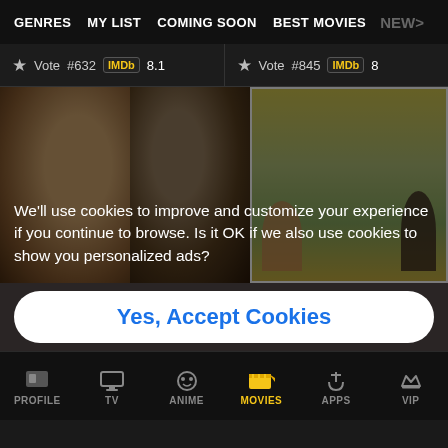GENRES | MY LIST | COMING SOON | BEST MOVIES | NEW >
★ Vote  #632  IMDb 8.1   ★ Vote  #845  IMDb 8
[Figure (screenshot): Movie thumbnail images showing close-up faces with headdresses and a vintage movie poster with a couple in front of a landscape]
We'll use cookies to improve and customize your experience if you continue to browse. Is it OK if we also use cookies to show you personalized ads?
Yes, Accept Cookies
PROFILE | TV | ANIME | MOVIES | APPS | VIP